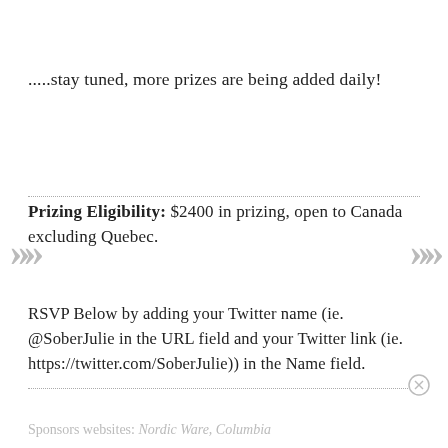.....stay tuned, more prizes are being added daily!
Prizing Eligibility: $2400 in prizing, open to Canada excluding Quebec.
RSVP Below by adding your Twitter name (ie. @SoberJulie in the URL field and your Twitter link (ie. https://twitter.com/SoberJulie)) in the Name field.
Sponsors websites: Nordic Ware, Columbia